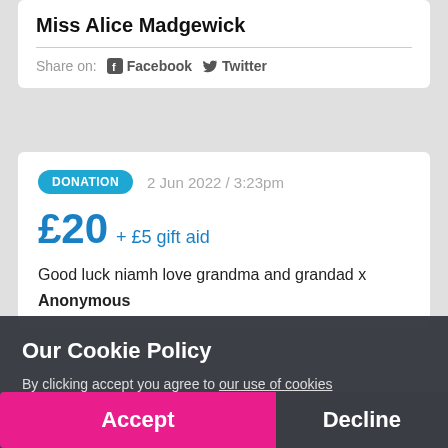Miss Alice Madgewick
Share on: Facebook Twitter
DONATION  2 Jun 2022 / 3:23pm
£20 + £5 gift aid
Good luck niamh love grandma and grandad x
Anonymous
Our Cookie Policy
By clicking accept you agree to our use of cookies
Accept
Decline